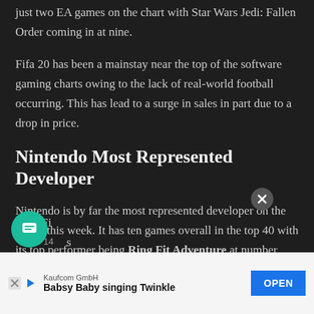just two EA games on the chart with Star Wars Jedi: Fallen Order coming in at nine.
Fifa 20 has been a mainstay near the top of the software gaming charts owing to the lack of real-world football occurring. This has lead to a surge in sales in part due to a drop in price.
Nintendo Most Represented Developer
Nintendo is by far the most represented developer on the charts this week. It has ten games overall in the top 40 with its top performer being Ring Fit Adventure at number two.
Ring Fi...